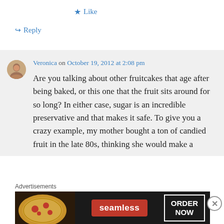★ Like
↪ Reply
Veronica on October 19, 2012 at 2:08 pm
Are you talking about other fruitcakes that age after being baked, or this one that the fruit sits around for so long? In either case, sugar is an incredible preservative and that makes it safe. To give you a crazy example, my mother bought a ton of candied fruit in the late 80s, thinking she would make a
Advertisements
[Figure (screenshot): Seamless food delivery advertisement banner with pizza image, 'seamless' logo in red, and 'ORDER NOW' button]